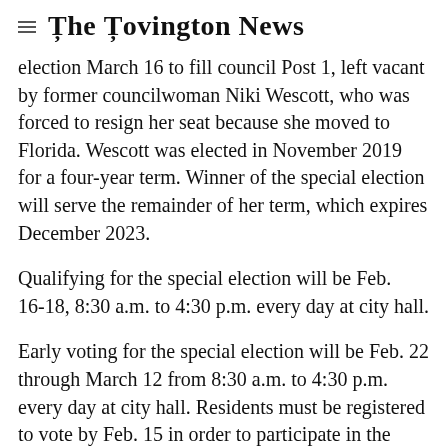The Covington News
election March 16 to fill council Post 1, left vacant by former councilwoman Niki Wescott, who was forced to resign her seat because she moved to Florida. Wescott was elected in November 2019 for a four-year term. Winner of the special election will serve the remainder of her term, which expires December 2023.
Qualifying for the special election will be Feb. 16-18, 8:30 a.m. to 4:30 p.m. every day at city hall.
Early voting for the special election will be Feb. 22 through March 12 from 8:30 a.m. to 4:30 p.m. every day at city hall. Residents must be registered to vote by Feb. 15 in order to participate in the election.
A runoff will be held April 13, if needed.